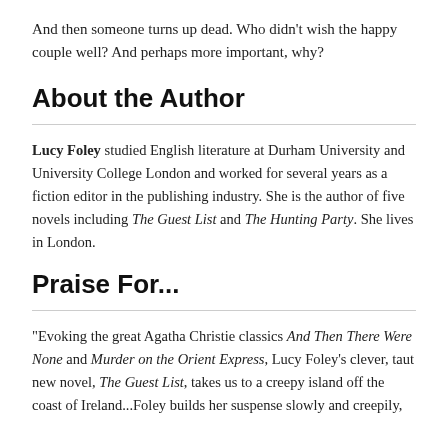And then someone turns up dead. Who didn't wish the happy couple well? And perhaps more important, why?
About the Author
Lucy Foley studied English literature at Durham University and University College London and worked for several years as a fiction editor in the publishing industry. She is the author of five novels including The Guest List and The Hunting Party. She lives in London.
Praise For...
"Evoking the great Agatha Christie classics And Then There Were None and Murder on the Orient Express, Lucy Foley's clever, taut new novel, The Guest List, takes us to a creepy island off the coast of Ireland...Foley builds her suspense slowly and creepily,